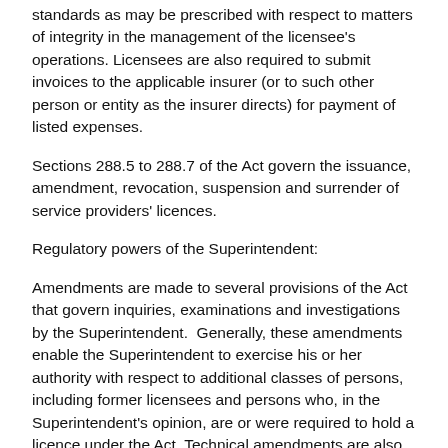standards as may be prescribed with respect to matters of integrity in the management of the licensee's operations. Licensees are also required to submit invoices to the applicable insurer (or to such other person or entity as the insurer directs) for payment of listed expenses.
Sections 288.5 to 288.7 of the Act govern the issuance, amendment, revocation, suspension and surrender of service providers' licences.
Regulatory powers of the Superintendent:
Amendments are made to several provisions of the Act that govern inquiries, examinations and investigations by the Superintendent.  Generally, these amendments enable the Superintendent to exercise his or her authority with respect to additional classes of persons, including former licensees and persons who, in the Superintendent's opinion, are or were required to hold a licence under the Act. Technical amendments are also made to those provisions.